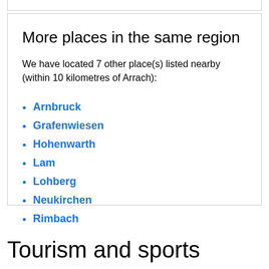More places in the same region
We have located 7 other place(s) listed nearby (within 10 kilometres of Arrach):
Arnbruck
Grafenwiesen
Hohenwarth
Lam
Lohberg
Neukirchen
Rimbach
Tourism and sports